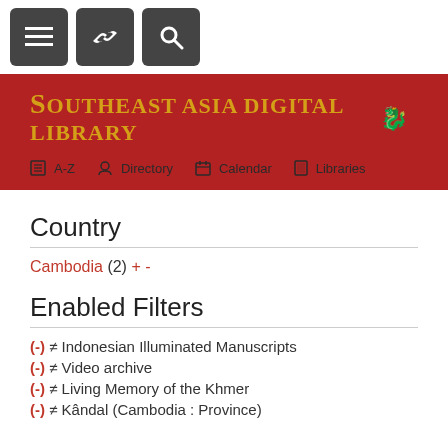[Figure (screenshot): Top navigation bar with three dark square icon buttons: hamburger menu, link/chain icon, and search/magnifying glass icon]
[Figure (screenshot): Southeast Asia Digital Library header banner on dark red background with gold title text and navigation links: A-Z, Directory, Calendar, Libraries]
Country
Cambodia (2) + -
Enabled Filters
(-) ≠ Indonesian Illuminated Manuscripts
(-) ≠ Video archive
(-) ≠ Living Memory of the Khmer
(-) ≠ Kândal (Cambodia : Province)